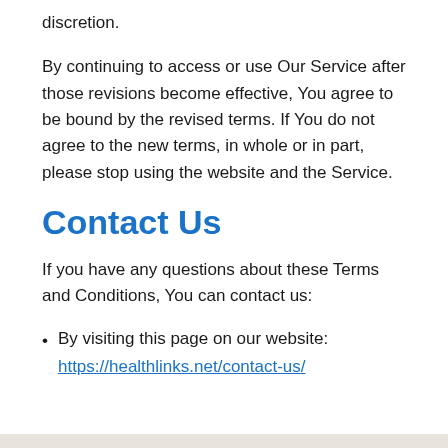discretion.
By continuing to access or use Our Service after those revisions become effective, You agree to be bound by the revised terms. If You do not agree to the new terms, in whole or in part, please stop using the website and the Service.
Contact Us
If you have any questions about these Terms and Conditions, You can contact us:
By visiting this page on our website: https://healthlinks.net/contact-us/